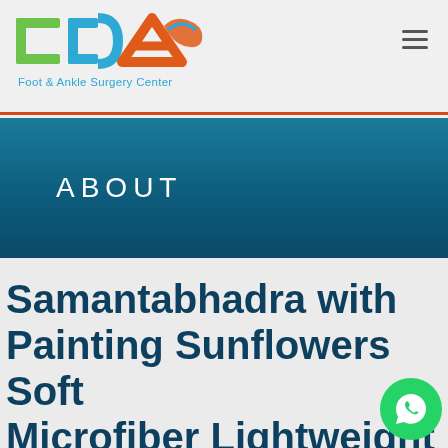[Figure (logo): Foot & Ankle Surgery Center logo with stylized letters C, D, A and a foot/ankle graphic in green, blue, orange and red colors]
ABOUT
Samantabhadra with Painting Sunflowers Soft Microfiber Lightweight
[Figure (other): WhatsApp contact button (green circle with phone handset icon)]